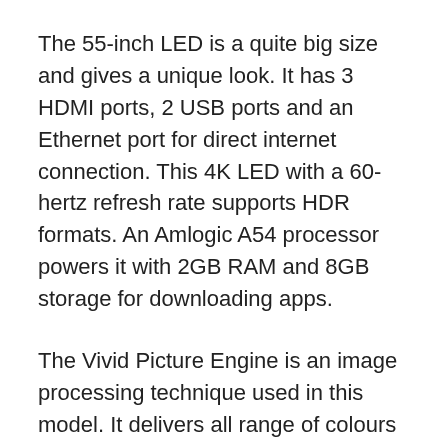The 55-inch LED is a quite big size and gives a unique look. It has 3 HDMI ports, 2 USB ports and an Ethernet port for direct internet connection. This 4K LED with a 60-hertz refresh rate supports HDR formats. An Amlogic A54 processor powers it with 2GB RAM and 8GB storage for downloading apps.
The Vivid Picture Engine is an image processing technique used in this model. It delivers all range of colours gamut with deep and rich contrast to the panel. The 20 Watts power output of speakers supports various formats of Dolby and DTS sound surround.